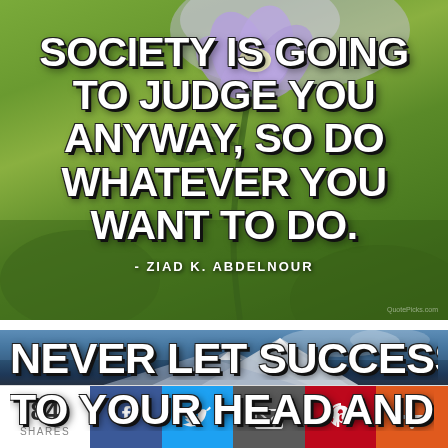[Figure (photo): Motivational quote image with purple flower on green bokeh background. Text: 'Society is going to judge you anyway, so do whatever you want to do.' - Ziad K. Abdelnour]
[Figure (photo): Motivational quote image with snow-capped mountain background. Partial text visible: 'Never let success get to your head and never let failure get...']
84 SHARES